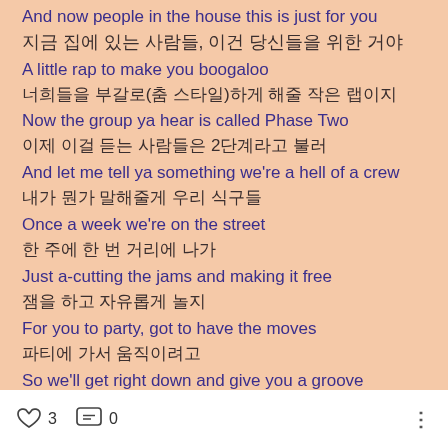And now people in the house this is just for you (clipped top)
지금 집에 있는 사람들, 이건 당신들을 위한 거야
A little rap to make you boogaloo
너희들을 부갈로(춤 스타일)하게 해줄 작은 랩이지
Now the group ya hear is called Phase Two
이제 이걸 듣는 사람들은 2단계라고 불러
And let me tell ya something we're a hell of a crew
내가 뭔가 말해줄게 우리 식구들
Once a week we're on the street
한 주에 한 번 거리에 나가
Just a-cutting the jams and making it free
잼을 하고 자유롭게 놀지
For you to party, got to have the moves
파티에 가서 움직이려고
So we'll get right down and give you a groove
우린 바로 춤을 추고 네게 그루브를 줘
For... (clipped bottom)
♡ 3   [...] 0   ⋮